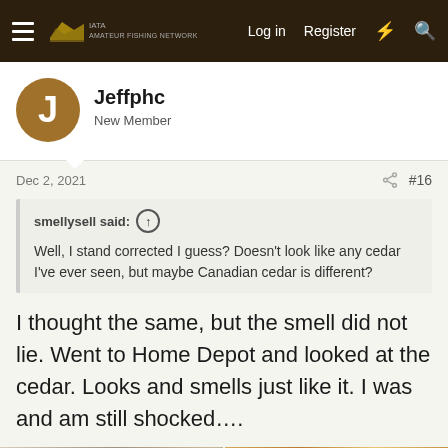Log in  Register
Jeffphc
New Member
Dec 2, 2021  #16
smellysell said: ↑

Well, I stand corrected I guess? Doesn't look like any cedar I've ever seen, but maybe Canadian cedar is different?
I thought the same, but the smell did not lie. Went to Home Depot and looked at the cedar. Looks and smells just like it. I was and am still shocked….
[Figure (photo): Two side-by-side photos of wood planks — left shows weathered grey/brown wood boards stacked, right shows wood boards at a store (Home Depot) with orange shelving visible in background]